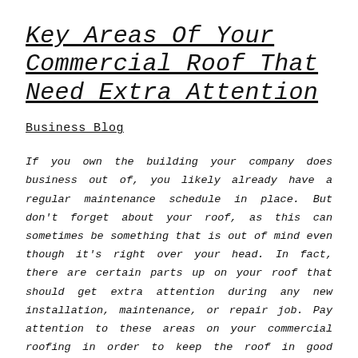Key Areas Of Your Commercial Roof That Need Extra Attention
Business Blog
If you own the building your company does business out of, you likely already have a regular maintenance schedule in place. But don't forget about your roof, as this can sometimes be something that is out of mind even though it's right over your head. In fact, there are certain parts up on your roof that should get extra attention during any new installation, maintenance, or repair job. Pay attention to these areas on your commercial roofing in order to keep the roof in good condition and keep your repair costs down over the long term.